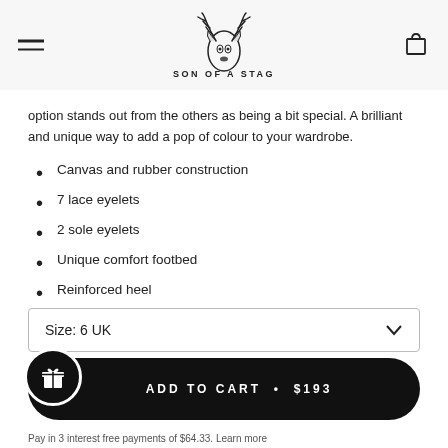Son of a Stag logo with hamburger menu and cart icon
option stands out from the others as being a bit special. A brilliant and unique way to add a pop of colour to your wardrobe.
Canvas and rubber construction
7 lace eyelets
2 sole eyelets
Unique comfort footbed
Reinforced heel
Made in Taiwan
Size: 6 UK
ADD TO CART • $193
Pay in 3 interest free payments of $64.33. Learn more